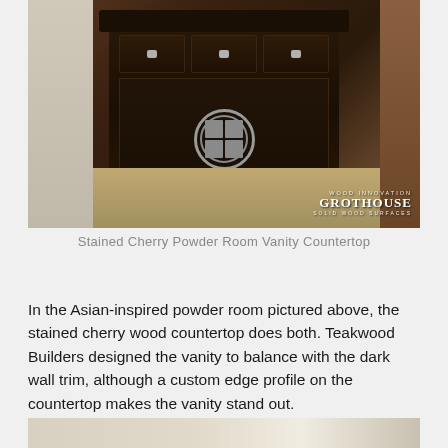[Figure (photo): Asian-inspired powder room vanity with dark stained cherry wood cabinet, decorative circular medallion hardware, three drawers with silver pulls, rippled white wall texture on left, stone pebble floor, Grothouse watermark in lower right corner.]
Stained Cherry Powder Room Vanity Countertop
In the Asian-inspired powder room pictured above, the stained cherry wood countertop does both. Teakwood Builders designed the vanity to balance with the dark wall trim, although a custom edge profile on the countertop makes the vanity stand out.
[Figure (photo): Partial view of another countertop or vanity surface, cropped at bottom of page.]